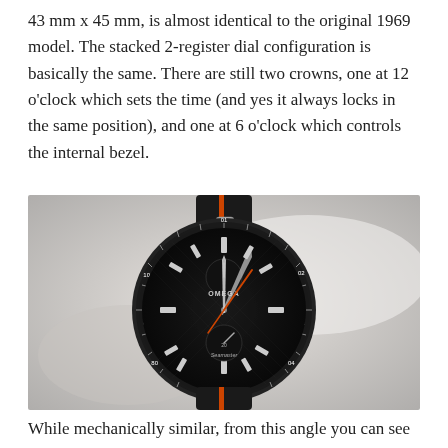43 mm x 45 mm, is almost identical to the original 1969 model. The stacked 2-register dial configuration is basically the same. There are still two crowns, one at 12 o'clock which sets the time (and yes it always locks in the same position), and one at 6 o'clock which controls the internal bezel.
[Figure (photo): Close-up photograph of an Omega Seamaster chronograph watch with a black dial, orange chronograph hand, internal tachymeter bezel with numbers, and a black strap with orange stripe, resting on a white fabric surface.]
While mechanically similar, from this angle you can see that...